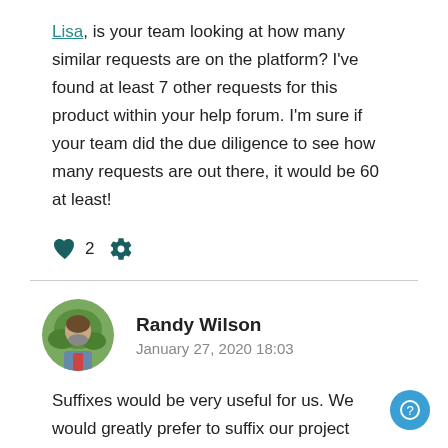Lisa, is your team looking at how many similar requests are on the platform? I've found at least 7 other requests for this product within your help forum. I'm sure if your team did the due diligence to see how many requests are out there, it would be 60 at least!
[Figure (infographic): Heart icon with count 2 and a gear/settings icon, representing reactions on a comment post]
Randy Wilson
January 27, 2020 18:03
Suffixes would be very useful for us. We would greatly prefer to suffix our project